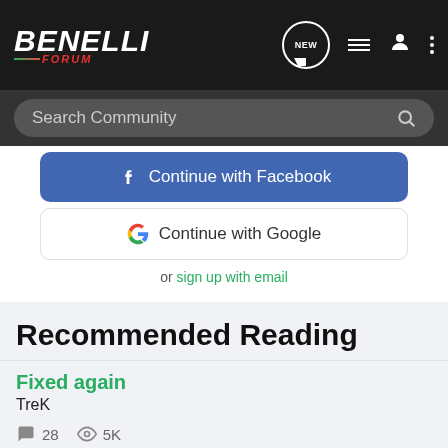BENELLI FORUM
Search Community
Continue with Facebook
Continue with Google
or sign up with email
Recommended Reading
Fixed again
TreK
28   5K
ferret · updated Jul 18, 2010